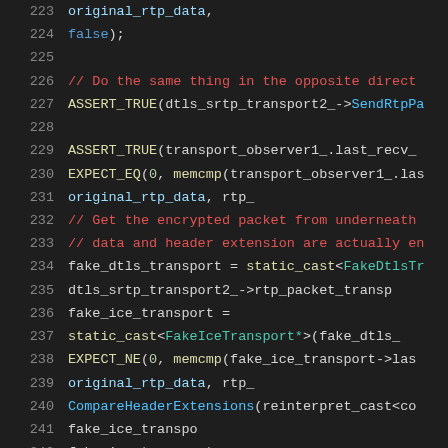Code listing lines 223-244, C++ source code for DTLS-SRTP transport test